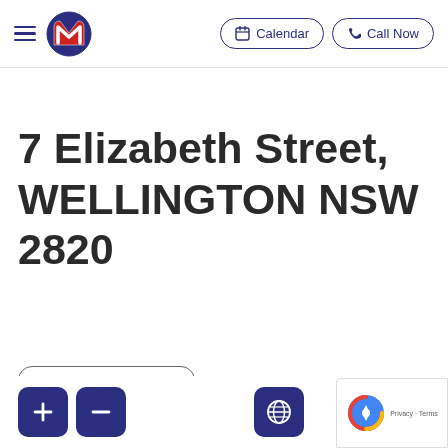Navigation bar with hamburger menu, M logo, Calendar button, Call Now button
7 Elizabeth Street, WELLINGTON NSW 2820
Get Directions
[Figure (screenshot): Bottom toolbar with + and - zoom buttons, globe/language icon button, and a partially visible additional button. reCAPTCHA badge in bottom right corner.]